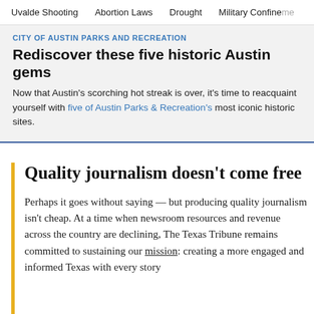Uvalde Shooting   Abortion Laws   Drought   Military Confinement
CITY OF AUSTIN PARKS AND RECREATION
Rediscover these five historic Austin gems
Now that Austin's scorching hot streak is over, it's time to reacquaint yourself with five of Austin Parks & Recreation's most iconic historic sites.
Quality journalism doesn't come free
Perhaps it goes without saying — but producing quality journalism isn't cheap. At a time when newsroom resources and revenue across the country are declining, The Texas Tribune remains committed to sustaining our mission: creating a more engaged and informed Texas with every story